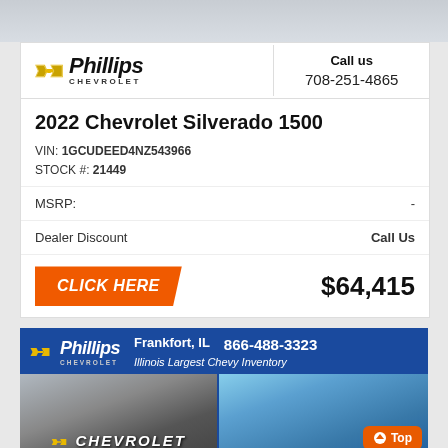[Figure (logo): Phillips Chevrolet logo with gold bowtie emblem and italic bold text]
Call us
708-251-4865
2022 Chevrolet Silverado 1500
VIN: 1GCUDEED4NZ543966
STOCK #: 21449
MSRP: -
Dealer Discount   Call Us
CLICK HERE   $64,415
[Figure (photo): Phillips Chevrolet dealership banner with logo, Frankfort IL, 866-488-3323, Illinois Largest Chevy Inventory, and dealership building photos]